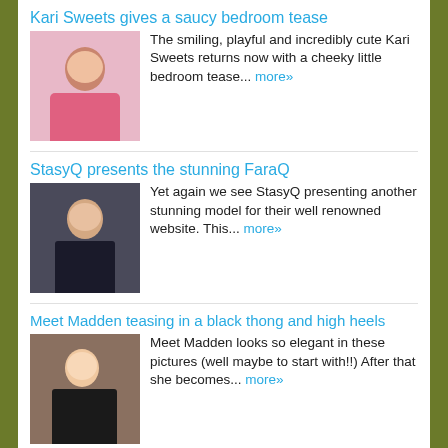Kari Sweets gives a saucy bedroom tease
[Figure (photo): Thumbnail photo of Kari Sweets]
The smiling, playful and incredibly cute Kari Sweets returns now with a cheeky little bedroom tease... more»
StasyQ presents the stunning FaraQ
[Figure (photo): Thumbnail photo of FaraQ]
Yet again we see StasyQ presenting another stunning model for their well renowned website. This... more»
Meet Madden teasing in a black thong and high heels
[Figure (photo): Thumbnail photo of Meet Madden]
Meet Madden looks so elegant in these pictures (well maybe to start with!!) After that she becomes... more»
Nikki Sims in tight jeans and high heels
[Figure (photo): Thumbnail photo of Nikki Sims]
Another popular babe returns now with a naughty set of photos for her famous Nikki Sims website.... more»
Gorgeous Bailey Knox wearing glasses
[Figure (photo): Thumbnail photo of Bailey Knox]
We never tire of posting pictures of the